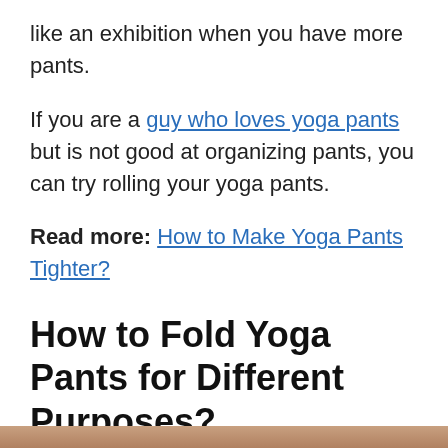like an exhibition when you have more pants.
If you are a guy who loves yoga pants but is not good at organizing pants, you can try rolling your yoga pants.
Read more: How to Make Yoga Pants Tighter?
How to Fold Yoga Pants for Different Purposes?